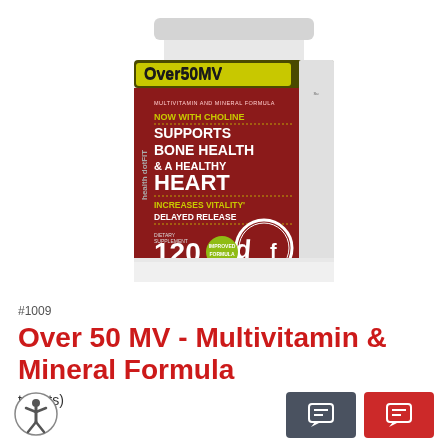[Figure (photo): Supplement bottle labeled 'Over50MV Multivitamin and Mineral Formula' by health dotFIT. Dark red label with olive/black top band. Text includes: NOW WITH CHOLINE, SUPPORTS BONE HEALTH & A HEALTHY HEART, INCREASES VITALITY, DELAYED RELEASE. 120 TABLETS. Features the dotFIT logo.]
#1009
Over 50 MV - Multivitamin & Mineral Formula
tablets)